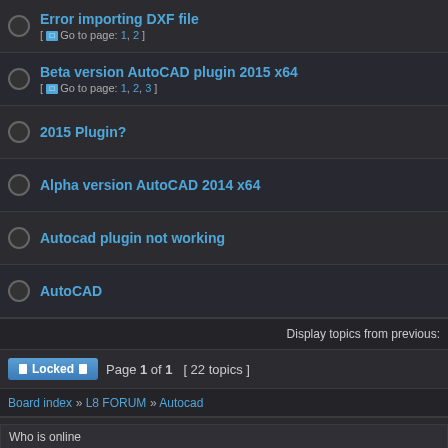Error importing DXF file [ Go to page: 1, 2 ]
Beta version AutoCAD plugin 2015 x64 [ Go to page: 1, 2, 3 ]
2015 Plugin?
Alpha version AutoCAD 2014 x64
Autocad plugin not working
AutoCAD
Display topics from previous:
Locked  Page 1 of 1  [ 22 topics ]
Board index » L8 FORUM » Autocad
Who is online
Users browsing this forum: No registered users and 1 guest
Unread posts   No unread posts   An
Unread posts [ Popular ]   No unread posts [ Popular ]   Sti